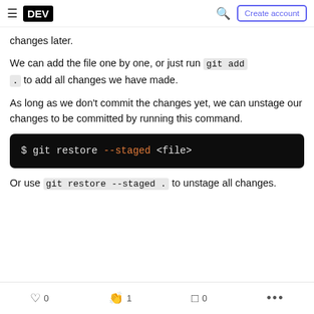DEV | Create account
changes later.
We can add the file one by one, or just run git add . to add all changes we have made.
As long as we don't commit the changes yet, we can unstage our changes to be committed by running this command.
[Figure (screenshot): Code block showing terminal command: $ git restore --staged <file>]
Or use git restore --staged . to unstage all changes.
0 likes | 1 reaction | 0 bookmarks | more options